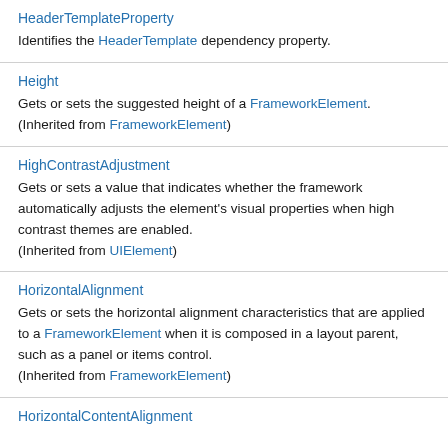HeaderTemplateProperty
Identifies the HeaderTemplate dependency property.
Height
Gets or sets the suggested height of a FrameworkElement. (Inherited from FrameworkElement)
HighContrastAdjustment
Gets or sets a value that indicates whether the framework automatically adjusts the element's visual properties when high contrast themes are enabled. (Inherited from UIElement)
HorizontalAlignment
Gets or sets the horizontal alignment characteristics that are applied to a FrameworkElement when it is composed in a layout parent, such as a panel or items control. (Inherited from FrameworkElement)
HorizontalContentAlignment